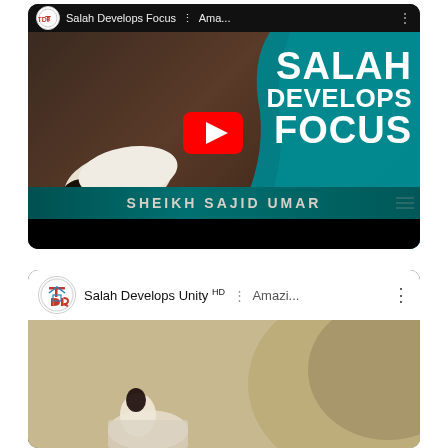[Figure (screenshot): YouTube video thumbnail for 'Salah Develops Focus' by Sheikh Sajid Umar. Shows a person in prostration on the left, large teal curved shape on the right with white bold text 'SALAH DEVELOPS FOCUS', red YouTube play button in center, teal banner at bottom reading 'SHEIKH SAJID UMAR'. Video card header shows TDR logo, title 'Salah Develops Focus' and 'Ama...' with menu dots.]
[Figure (screenshot): YouTube video card (partial) for 'Salah Develops Unity HD | Amazi...' with TDR channel logo. Shows beginning of thumbnail with person in Islamic dress and teal/gold design.]